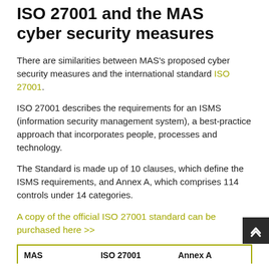ISO 27001 and the MAS cyber security measures
There are similarities between MAS's proposed cyber security measures and the international standard ISO 27001.
ISO 27001 describes the requirements for an ISMS (information security management system), a best-practice approach that incorporates people, processes and technology.
The Standard is made up of 10 clauses, which define the ISMS requirements, and Annex A, which comprises 114 controls under 14 categories.
A copy of the official ISO 27001 standard can be purchased here >>
| MAS | ISO 27001 | Annex A |
| --- | --- | --- |